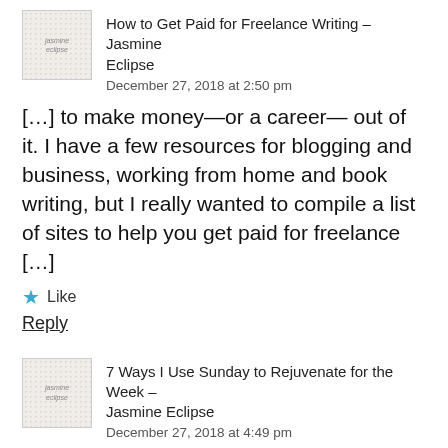How to Get Paid for Freelance Writing – Jasmine Eclipse
December 27, 2018 at 2:50 pm
[…] to make money—or a career— out of it. I have a few resources for blogging and business, working from home and book writing, but I really wanted to compile a list of sites to help you get paid for freelance […]
★ Like
Reply
7 Ways I Use Sunday to Rejuvenate for the Week – Jasmine Eclipse
December 27, 2018 at 4:49 pm
[…]